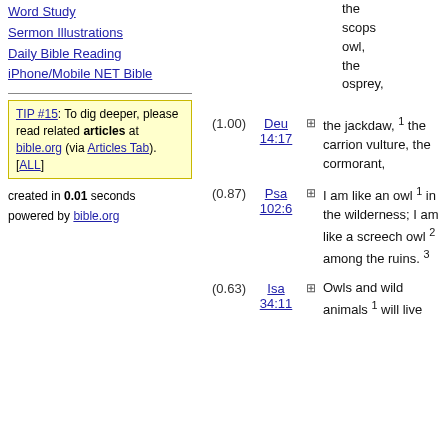Word Study
Sermon Illustrations
Daily Bible Reading
iPhone/Mobile NET Bible
TIP #15: To dig deeper, please read related articles at bible.org (via Articles Tab). [ALL]
created in 0.01 seconds
powered by bible.org
the scops owl, the osprey,
(1.00) Deu 14:17 — + the jackdaw, 1 the carrion vulture, the cormorant,
(0.87) Psa 102:6 — + I am like an owl 1 in the wilderness; I am like a screech owl 2 among the ruins. 3
(0.63) Isa 34:11 — + Owls and wild animals 1 will live